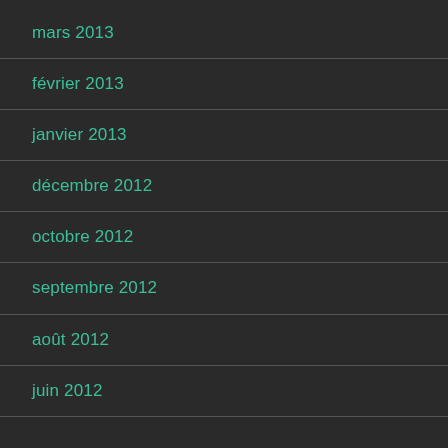mars 2013
février 2013
janvier 2013
décembre 2012
octobre 2012
septembre 2012
août 2012
juin 2012